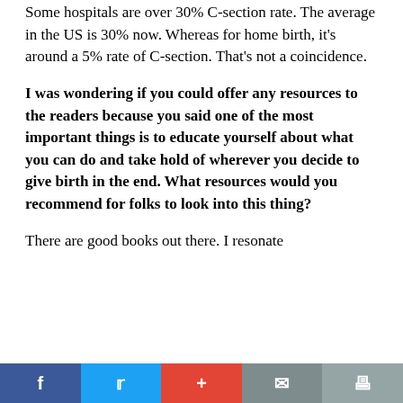Some hospitals are over 30% C-section rate. The average in the US is 30% now. Whereas for home birth, it's around a 5% rate of C-section. That's not a coincidence.
I was wondering if you could offer any resources to the readers because you said one of the most important things is to educate yourself about what you can do and take hold of wherever you decide to give birth in the end. What resources would you recommend for folks to look into this thing?
There are good books out there. I resonate